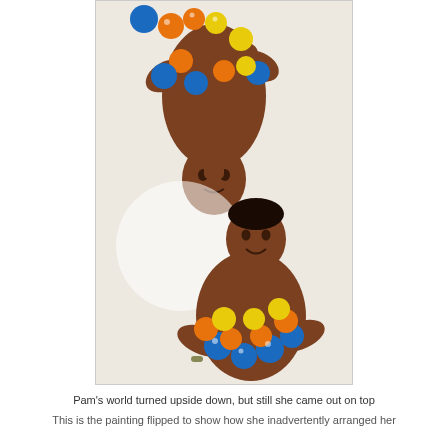[Figure (illustration): A painting showing two figures: one upright woman at the bottom holding colorful blue, orange and yellow balls/spheres, and another figure reflected upside-down at the top also holding colorful spheres, against a light beige background.]
Pam's world turned upside down, but still she came out on top
This is the painting flipped to show how she inadvertently arranged her